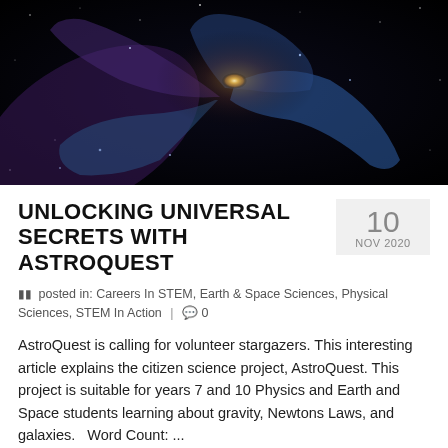[Figure (photo): Spiral galaxy image on black background, showing blue and purple spiral arms with a bright golden core, viewed from above.]
UNLOCKING UNIVERSAL SECRETS WITH ASTROQUEST
10 NOV 2020
posted in: Careers In STEM, Earth & Space Sciences, Physical Sciences, STEM In Action | 0
AstroQuest is calling for volunteer stargazers. This interesting article explains the citizen science project, AstroQuest. This project is suitable for years 7 and 10 Physics and Earth and Space students learning about gravity, Newtons Laws, and galaxies.   Word Count: ... Continued
are there forces in space?, Astrophysicist, Astrophysics, Australian space science, Big